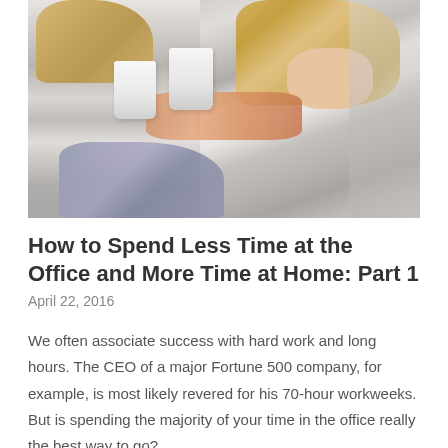[Figure (photo): A woman and a young girl holding white coffee cups and toasting them together. Both are dressed in gray/casual clothing. Background is soft and blurred.]
How to Spend Less Time at the Office and More Time at Home: Part 1
April 22, 2016
We often associate success with hard work and long hours. The CEO of a major Fortune 500 company, for example, is most likely revered for his 70-hour workweeks. But is spending the majority of your time in the office really the best way to go?